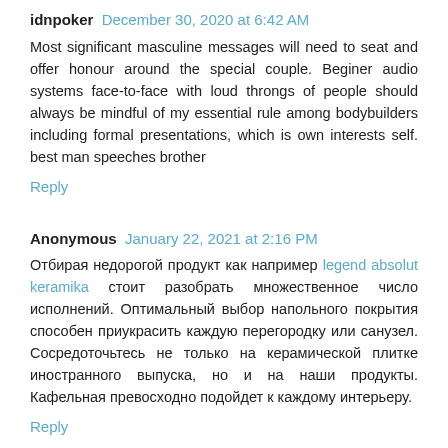idnpoker  December 30, 2020 at 6:42 AM
Most significant masculine messages will need to seat and offer honour around the special couple. Beginer audio systems face-to-face with loud throngs of people should always be mindful of my essential rule among bodybuilders including formal presentations, which is own interests self. best man speeches brother
Reply
Anonymous  January 22, 2021 at 2:16 PM
Отбирая недорогой продукт как например legend absolut keramika стоит разобрать множественное число исполнений. Оптимальный выбор напольного покрытия способен приукрасить каждую перегородку или санузел. Сосредоточьтесь не только на керамической плитке иностранного выпуска, но и на наши продукты. Кафельная превосходно подойдет к каждому интерьеру.
Reply